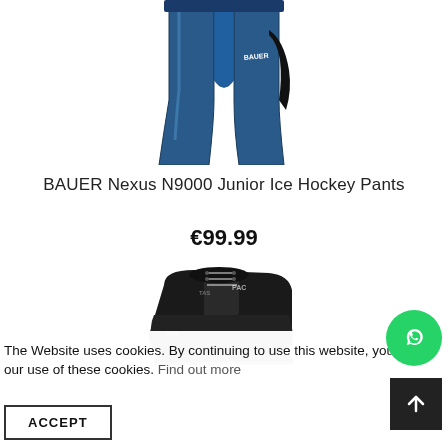[Figure (photo): Blue BAUER Nexus N9000 junior ice hockey pants, shown from the front, partially cropped at top]
BAUER Nexus N9000 Junior Ice Hockey Pants
€99.99
[Figure (photo): Black ice hockey skates, top portion visible, with blade housing at bottom]
The Website uses cookies. By continuing to use this website, your ... our use of these cookies. Find out more
ACCEPT